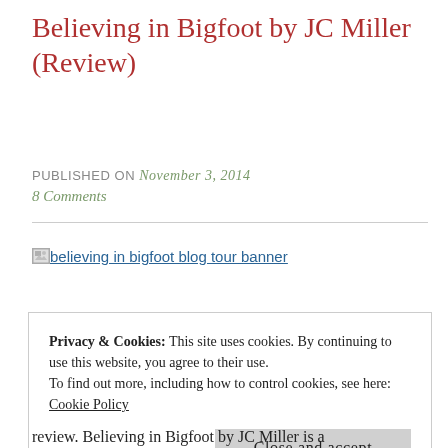Believing in Bigfoot by JC Miller (Review)
PUBLISHED ON November 3, 2014
8 Comments
[Figure (other): Broken image placeholder with alt text: believing in bigfoot blog tour banner]
Privacy & Cookies: This site uses cookies. By continuing to use this website, you agree to their use.
To find out more, including how to control cookies, see here:
Cookie Policy
Close and accept
review. Believing in Bigfoot by JC Miller is a